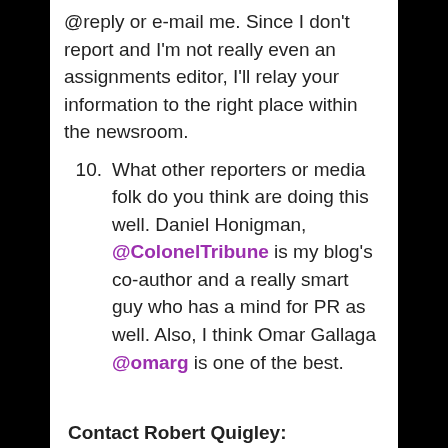@reply or e-mail me. Since I don't report and I'm not really even an assignments editor, I'll relay your information to the right place within the newsroom.
10. What other reporters or media folk do you think are doing this well. Daniel Honigman, @ColonelTribune is my blog's co-author and a really smart guy who has a mind for PR as well. Also, I think Omar Gallaga @omarg is one of the best.
Contact Robert Quigley: